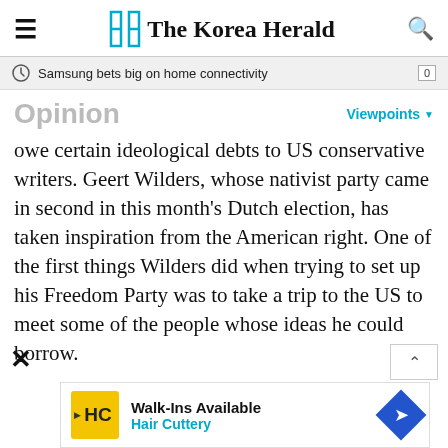The Korea Herald
Samsung bets big on home connectivity
Opinion
owe certain ideological debts to US conservative writers. Geert Wilders, whose nativist party came in second in this month's Dutch election, has taken inspiration from the American right. One of the first things Wilders did when trying to set up his Freedom Party was to take a trip to the US to meet some of the people whose ideas he could borrow.
[Figure (screenshot): Advertisement banner for Hair Cuttery: Walk-Ins Available]